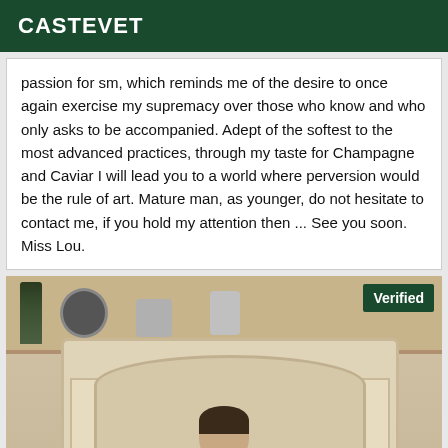CASTEVET
passion for sm, which reminds me of the desire to once again exercise my supremacy over those who know and who only asks to be accompanied. Adept of the softest to the most advanced practices, through my taste for Champagne and Caviar I will lead you to a world where perversion would be the rule of art. Mature man, as younger, do not hesitate to contact me, if you hold my attention then ... See you soon. Miss Lou.
[Figure (photo): Interior room photo showing a fireplace mantel with decorative items on a shelf above (wine bottle, clock, plant, vase). A person with dark hair is visible at the bottom center. A green 'Verified' badge is shown in the top right corner of the photo.]